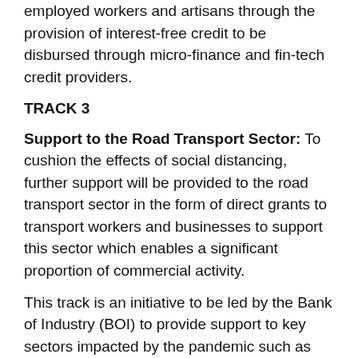employed workers and artisans through the provision of interest-free credit to be disbursed through micro-finance and fin-tech credit providers.
TRACK 3
Support to the Road Transport Sector: To cushion the effects of social distancing, further support will be provided to the road transport sector in the form of direct grants to transport workers and businesses to support this sector which enables a significant proportion of commercial activity.
This track is an initiative to be led by the Bank of Industry (BOI) to provide support to key sectors impacted by the pandemic such as Healthcare; Agro-Processing; Creative Industry; Oil & Gas; female-owned businesses. Preliminary engagements have been undertaken with the private sector to identify interventions required.